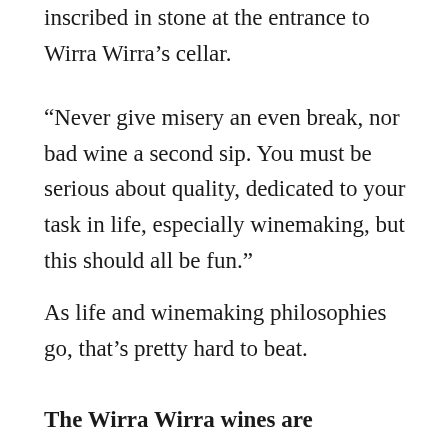inscribed in stone at the entrance to Wirra Wirra's cellar.
“Never give misery an even break, nor bad wine a second sip. You must be serious about quality, dedicated to your task in life, especially winemaking, but this should all be fun.”
As life and winemaking philosophies go, that’s pretty hard to beat.
The Wirra Wirra wines are